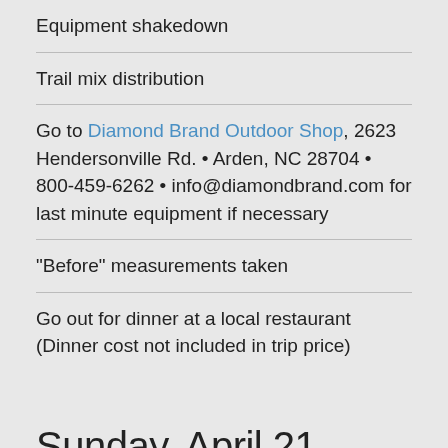Equipment shakedown
Trail mix distribution
Go to Diamond Brand Outdoor Shop, 2623 Hendersonville Rd. • Arden, NC 28704 • 800-459-6262 • info@diamondbrand.com for last minute equipment if necessary
"Before" measurements taken
Go out for dinner at a local restaurant (Dinner cost not included in trip price)
Sunday, April 21, 2019
Start the hike at the Big Creek Ranger Station, elevation 1600'.
Hike 2.1 miles on the Chestnut Branch trail to the Appalachian Trail, elevation 2800'. A good